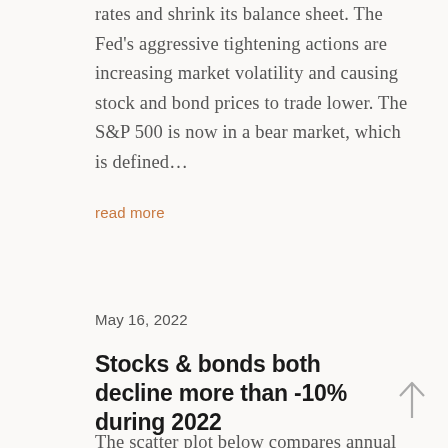rates and shrink its balance sheet. The Fed's aggressive tightening actions are increasing market volatility and causing stock and bond prices to trade lower. The S&P 500 is now in a bear market, which is defined…
read more
May 16, 2022
Stocks & bonds both decline more than -10% during 2022
The scatter plot below compares annual